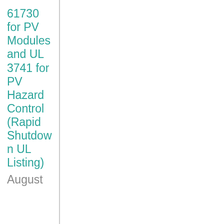61730 for PV Modules and UL 3741 for PV Hazard Control (Rapid Shutdown UL Listing)
August